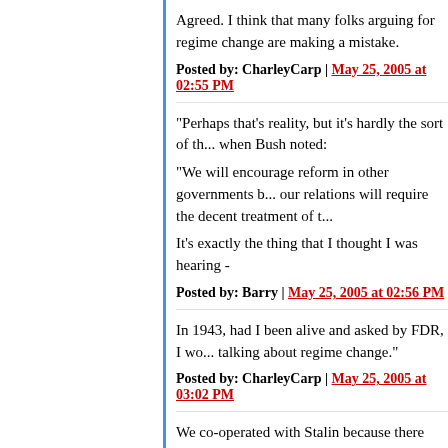Agreed. I think that many folks arguing for regime change are making a mistake.
Posted by: CharleyCarp | May 25, 2005 at 02:55 PM
"Perhaps that's reality, but it's hardly the sort of thing... when Bush noted:
"We will encourage reform in other governments b... our relations will require the decent treatment of t...
It's exactly the thing that I thought I was hearing -
Posted by: Barry | May 25, 2005 at 02:56 PM
In 1943, had I been alive and asked by FDR, I wo... talking about regime change."
Posted by: CharleyCarp | May 25, 2005 at 03:02 PM
We co-operated with Stalin because there was no... revisionists who have been writing Bush's 'analys... case, yet advocate a far higher standard of never...